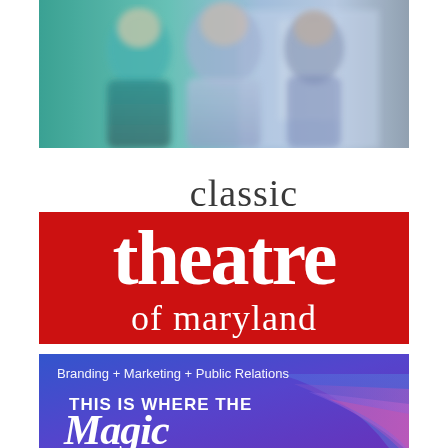[Figure (photo): Blurred/motion photo of people in teal and blue/white clothing, appears to be a behind-the-scenes or rehearsal setting]
[Figure (logo): Classic Theatre of Maryland logo: 'classic' in dark gray serif font on top, 'theatre' in large bold red font in the middle, 'of maryland' in white text on red rectangular background at the bottom]
[Figure (infographic): Blue/purple gradient banner with text 'Branding + Marketing + Public Relations' in white at top, and 'THIS IS WHERE THE Magic' in bold white/purple retro font below, with decorative curved stripe elements]